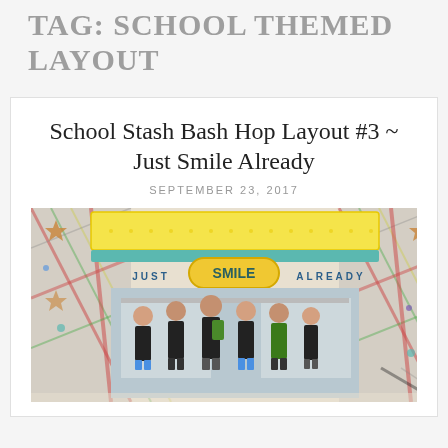TAG: SCHOOL THEMED LAYOUT
School Stash Bash Hop Layout #3 ~ Just Smile Already
SEPTEMBER 23, 2017
[Figure (photo): Scrapbook layout page titled 'Just Smile Already' featuring a group photo of children standing in front of a house wearing backpacks, decorated with plaid paper, yellow frame with 'SMILE' text, stars, sequins, and colorful embellishments.]